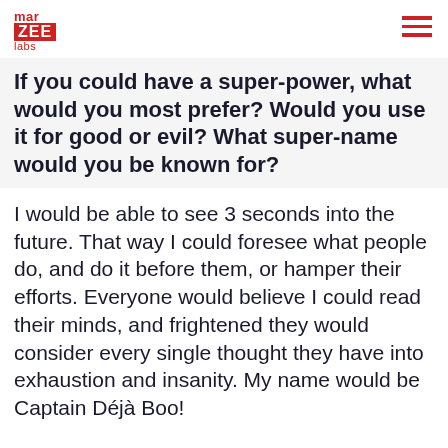mar ZEE labs
If you could have a super-power, what would you most prefer? Would you use it for good or evil? What super-name would you be known for?
I would be able to see 3 seconds into the future. That way I could foresee what people do, and do it before them, or hamper their efforts. Everyone would believe I could read their minds, and frightened they would consider every single thought they have into exhaustion and insanity. My name would be Captain Déjà Boo!